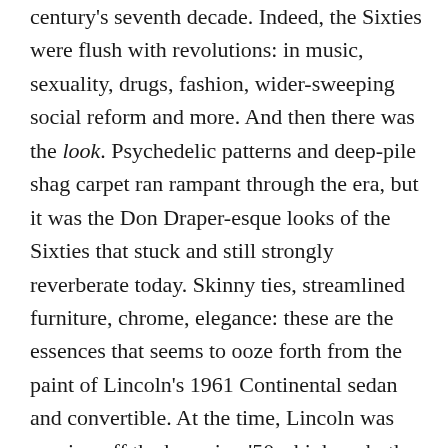century's seventh decade. Indeed, the Sixties were flush with revolutions: in music, sexuality, drugs, fashion, wider-sweeping social reform and more. And then there was the look. Psychedelic patterns and deep-pile shag carpet ran rampant through the era, but it was the Don Draper-esque looks of the Sixties that stuck and still strongly reverberate today. Skinny ties, streamlined furniture, chrome, elegance: these are the essences that seems to ooze forth from the paint of Lincoln's 1961 Continental sedan and convertible. At the time, Lincoln was coming off the booming '50s, high on both the spirit of Americana and of bulbous, massive vehicle design. The Continental needed to go on a diet, and in '61, the result was the